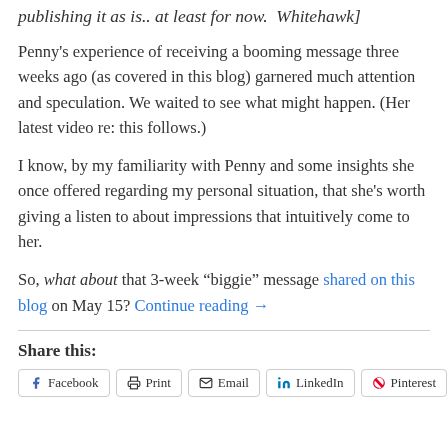publishing it as is.. at least for now.  Whitehawk]
Penny’s experience of receiving a booming message three weeks ago (as covered in this blog) garnered much attention and speculation. We waited to see what might happen. (Her latest video re: this follows.)
I know, by my familiarity with Penny and some insights she once offered regarding my personal situation, that she’s worth giving a listen to about impressions that intuitively come to her.
So, what about that 3-week “biggie” message shared on this blog on May 15? Continue reading →
Share this:
Facebook  Print  Email  LinkedIn  Pinterest